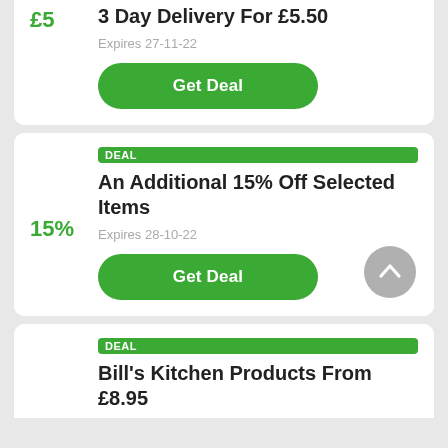£5
3 Day Delivery For £5.50
Expires 27-11-22
Get Deal
DEAL
15%
An Additional 15% Off Selected Items
Expires 28-10-22
Get Deal
DEAL
Bill's Kitchen Products From £8.95